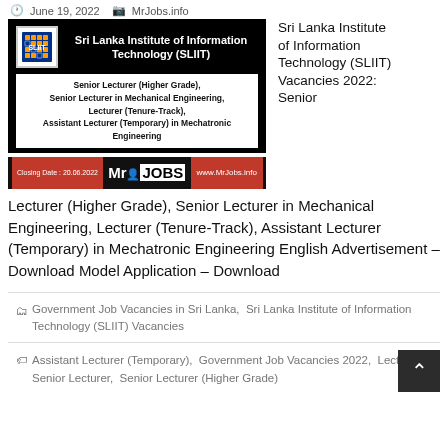June 19, 2022   MrJobs.info
[Figure (screenshot): SLIIT banner with logo showing Sri Lanka Institute of Information Technology (SLIIT), job titles (Senior Lecturer Higher Grade, Senior Lecturer in Mechanical Engineering, Lecturer Tenure-Track, Assistant Lecturer Temporary in Mechatronic Engineering), MrJobs bar with closing date 20.06.2022 and www.MrJobs.info]
Sri Lanka Institute of Information Technology (SLIIT) Vacancies 2022: Senior Lecturer (Higher Grade), Senior Lecturer in Mechanical Engineering, Lecturer (Tenure-Track), Assistant Lecturer (Temporary) in Mechatronic Engineering English Advertisement – Download Model Application – Download
Government Job Vacancies in Sri Lanka,  Sri Lanka Institute of Information Technology (SLIIT) Vacancies
Assistant Lecturer (Temporary),  Government Job Vacancies 2022,  Lecturer,  Senior Lecturer,  Senior Lecturer (Higher Grade)